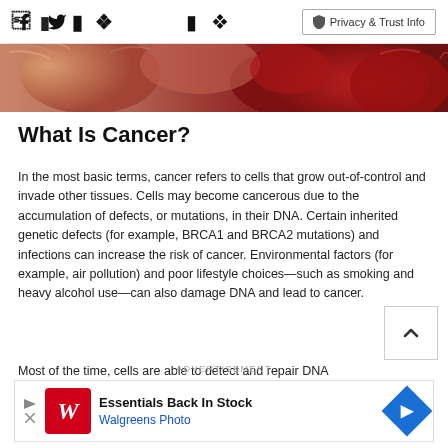Facebook Twitter | Privacy & Trust Info
[Figure (photo): Close-up macro image of cancer cells, reddish-brown organic textured appearance]
What Is Cancer?
In the most basic terms, cancer refers to cells that grow out-of-control and invade other tissues. Cells may become cancerous due to the accumulation of defects, or mutations, in their DNA. Certain inherited genetic defects (for example, BRCA1 and BRCA2 mutations) and infections can increase the risk of cancer. Environmental factors (for example, air pollution) and poor lifestyle choices—such as smoking and heavy alcohol use—can also damage DNA and lead to cancer.
Most of the time, cells are able to detect and repair DNA
ADVERTISEMENT
[Figure (other): Walgreens advertisement banner: Essentials Back In Stock, Walgreens Photo]